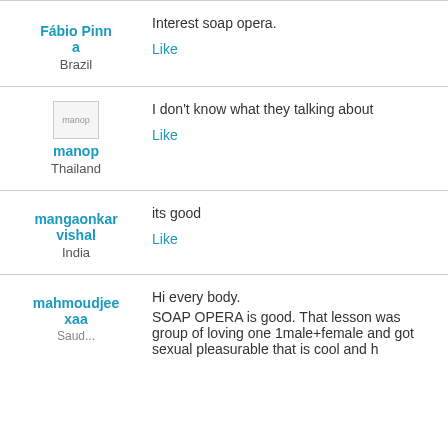Fábio Pinna, Brazil: Interest soap opera. Like
manop, Thailand: I don't know what they talking about. Like
mangaonkar vishal, India: its good. Like
mahmoudjee xaa, Saudi: Hi every body. SOAP OPERA is good. That lesson was group of loving one 1male+female and got sexual pleasurable that is cool and h...